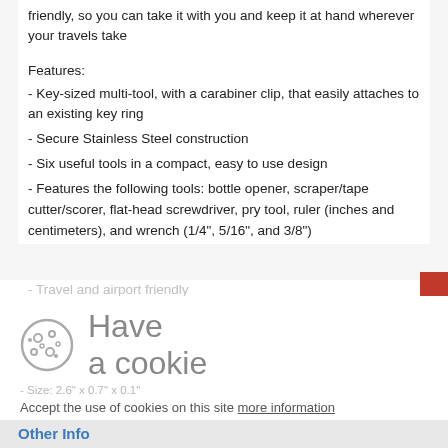friendly, so you can take it with you and keep it at hand wherever your travels take
Features:
- Key-sized multi-tool, with a carabiner clip, that easily attaches to an existing key ring
- Secure Stainless Steel construction
- Six useful tools in a compact, easy to use design
- Features the following tools: bottle opener, scraper/tape cutter/scorer, flat-head screwdriver, pry tool, ruler (inches and centimeters), and wrench (1/4", 5/16", and 3/8")
- Travel and airport friendly
[Figure (infographic): Cookie consent banner with cookie icon and 'Have a cookie' heading]
Accept the use of cookies on this site more information
I Accept
- Size: 2.6" x 0.7" x 0.1"
Other Info